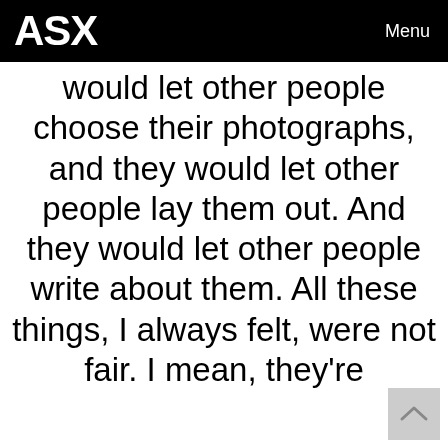ASX   Menu
would let other people choose their photographs, and they would let other people lay them out. And they would let other people write about them. All these things, I always felt, were not fair. I mean, they're